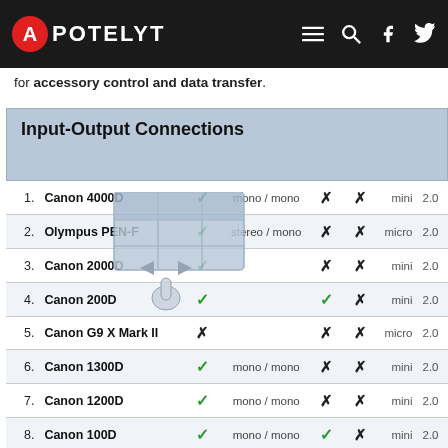APOTELYT
for accessory control and data transfer.
| # | Camera | Audio | Mic | Headphone | USB | Ver |
| --- | --- | --- | --- | --- | --- | --- |
| 1. | Canon 4000D | ✓ | mono / mono | ✗ | ✗ | mini | 2.0 |
| 2. | Olympus PEN-F | ✓ | stereo / mono | ✗ | ✗ | micro | 2.0 |
| 3. | Canon 2000D | ✓ |  | ✗ | ✗ | mini | 2.0 |
| 4. | Canon 200D | ✓ |  | ✓ | ✗ | mini | 2.0 |
| 5. | Canon G9 X Mark II | ✗ |  | ✗ | ✗ | micro | 2.0 |
| 6. | Canon 1300D | ✓ | mono / mono | ✗ | ✗ | mini | 2.0 |
| 7. | Canon 1200D | ✓ | mono / mono | ✗ | ✗ | mini | 2.0 |
| 8. | Canon 100D | ✓ | mono / mono | ✓ | ✗ | mini | 2.0 |
| 9. | Canon 700D | ✓ | stereo / mono | ✓ | ✗ | mini | 2.0 |